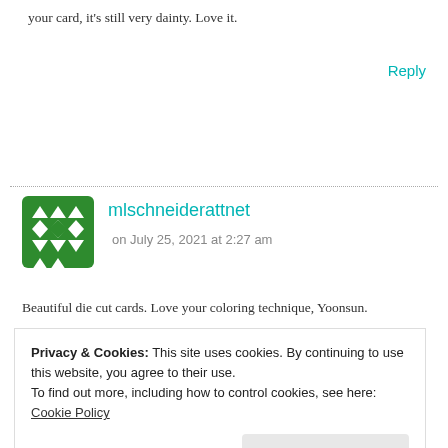your card, it's still very dainty. Love it.
Reply
[Figure (illustration): Green decorative avatar icon with geometric diamond and triangle pattern]
mlschneiderattnet
on July 25, 2021 at 2:27 am
Beautiful die cut cards. Love your coloring technique, Yoonsun.
Privacy & Cookies: This site uses cookies. By continuing to use this website, you agree to their use.
To find out more, including how to control cookies, see here: Cookie Policy
Close and accept